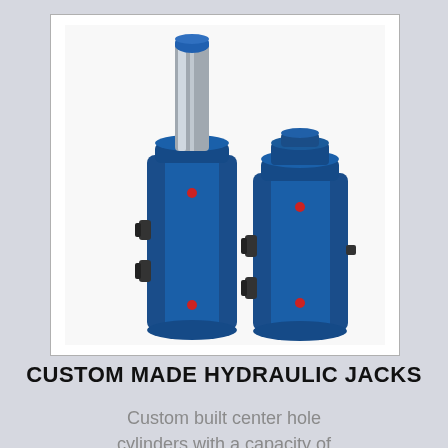[Figure (photo): Two blue hydraulic jack cylinders side by side. The taller one on the left has a shiny chrome/steel piston rod extended from the top with a blue cap. Both cylinders are painted blue and have red indicator dots and black valve/port fittings on their bodies.]
CUSTOM MADE HYDRAULIC JACKS
Custom built center hole cylinders with a capacity of